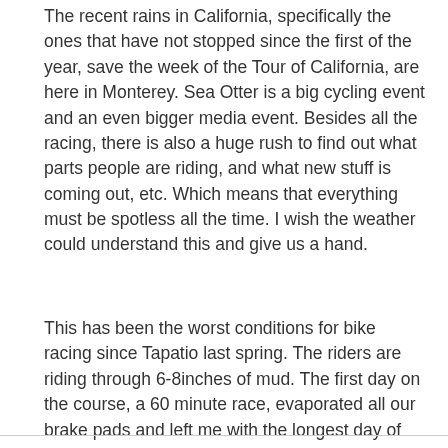The recent rains in California, specifically the ones that have not stopped since the first of the year, save the week of the Tour of California, are here in Monterey. Sea Otter is a big cycling event and an even bigger media event. Besides all the racing, there is also a huge rush to find out what parts people are riding, and what new stuff is coming out, etc. Which means that everything must be spotless all the time. I wish the weather could understand this and give us a hand.
This has been the worst conditions for bike racing since Tapatio last spring. The riders are riding through 6-8inches of mud. The first day on the course, a 60 minute race, evaporated all our brake pads and left me with the longest day of bike wash I have ever done. I was at our trailer from 5:50am to